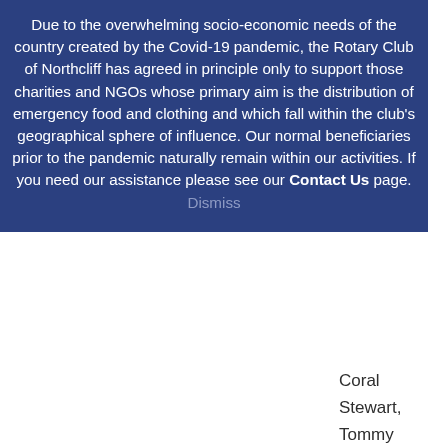Due to the overwhelming socio-economic needs of the country created by the Covid-19 pandemic, the Rotary Club of Northcliff has agreed in principle only to support those charities and NGOs whose primary aim is the distribution of emergency food and clothing and which fall within the club's geographical sphere of influence. Our normal beneficiaries prior to the pandemic naturally remain within our activities. If you need our assistance please see our Contact Us page. Dismiss
Coral Stewart, Tommy Stratten, Robert Jacobsz, Agatha Jacobsz, Ansie Hibberd, Andrew Buttress, Dave Woodhouse, and Ian